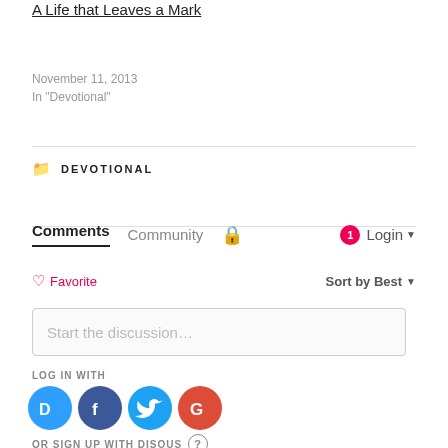A Life that Leaves a Mark
November 11, 2013
In "Devotional"
DEVOTIONAL
Comments   Community   Login
♡ Favorite   Sort by Best
Start the discussion…
LOG IN WITH
[Figure (other): Social login icons: Disqus (blue), Facebook (dark blue), Twitter (light blue), Google (red)]
OR SIGN UP WITH DISQUS ?